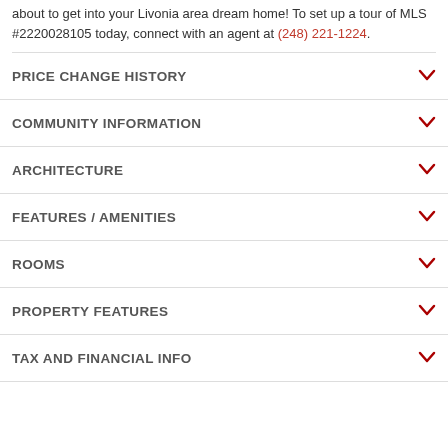about to get into your Livonia area dream home! To set up a tour of MLS #2220028105 today, connect with an agent at (248) 221-1224.
PRICE CHANGE HISTORY
COMMUNITY INFORMATION
ARCHITECTURE
FEATURES / AMENITIES
ROOMS
PROPERTY FEATURES
TAX AND FINANCIAL INFO